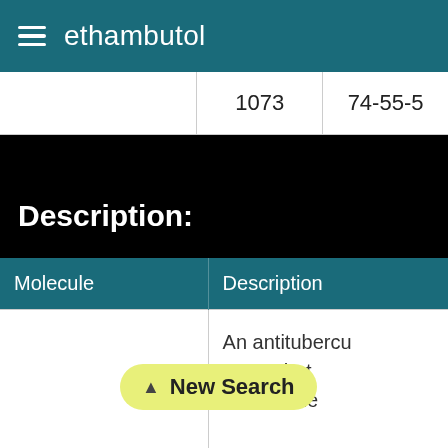ethambutol
|  |  |  |
| --- | --- | --- |
|  | 1073 | 74-55-5 |
Description:
| Molecule | Description |
| --- | --- |
|  | An antitubercu... agent that inhibits the mycolic acids into the cell wa... of the tubercle bacillus. It m... |
New Search